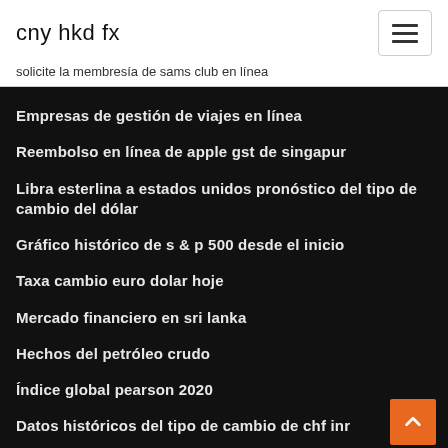cny hkd fx
solicite la membresía de sams club en línea
Empresas de gestión de viajes en línea
Reembolso en línea de apple gst de singapur
Libra esterlina a estados unidos pronóstico del tipo de cambio del dólar
Gráfico histórico de s & p 500 desde el inicio
Taxa cambio euro dolar hoje
Mercado financiero en sri lanka
Hechos del petróleo crudo
Índice global pearson 2020
Datos históricos del tipo de cambio de chf inr